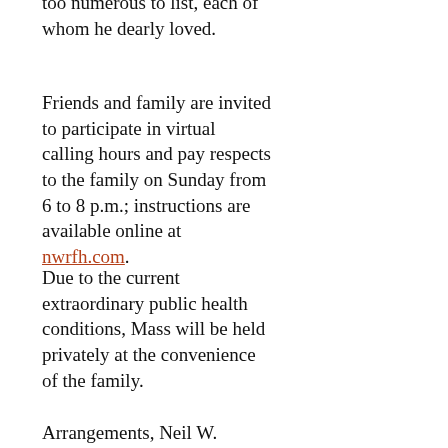too numerous to list, each of whom he dearly loved.
Friends and family are invited to participate in virtual calling hours and pay respects to the family on Sunday from 6 to 8 p.m.; instructions are available online at nwrfh.com.
Due to the current extraordinary public health conditions, Mass will be held privately at the convenience of the family.
Arrangements, Neil W.